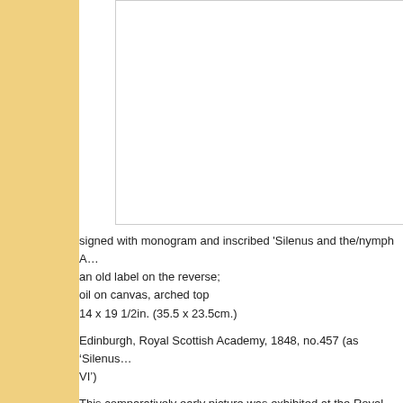[Figure (illustration): A painting depicting Silenus and a nymph, with multiple figures in a landscape setting. The painting has an arched top. Shows several figures including a reclining older man (Silenus), standing male figures with dark hair, and a floating female figure (nymph) in the upper right. Background shows trees and sky.]
signed with monogram and inscribed 'Silenus and the/nymph A... an old label on the reverse;
oil on canvas, arched top
14 x 19 1/2in. (35.5 x 23.5cm.)
Edinburgh, Royal Scottish Academy, 1848, no.457 (as 'Silenus... VI')
This comparatively early picture was exhibited at the Royal Sco...